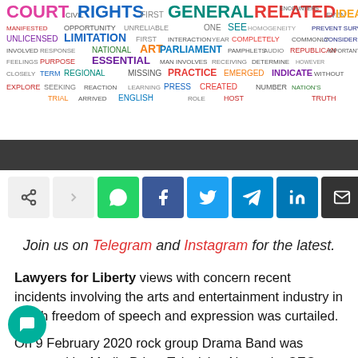[Figure (infographic): Colorful word cloud banner featuring legal and civic terms such as COURT, RIGHTS, GENERAL, RELATED, IDEAS, MANIFESTED, OPPORTUNITY, SURVEILLANCE, LIMITATION, PARLIAMENT, REPUBLICAN, NATIONAL, ART, ESSENTIAL, MAN INVOLVES, REGIONAL, REACTION, PRACTICE, INDICATE, WITHOUT, TRIAL, LEARNING, PRESS, ENGLISH, CREATED, NUMBER, NATION'S, TRUTH, and many more in various colors.]
[Figure (infographic): Dark gray horizontal bar separating the word cloud from the share icons below.]
[Figure (infographic): Social media share bar with icons for share, arrow, WhatsApp, Facebook, Twitter, Telegram, LinkedIn, Email, and Print.]
Join us on Telegram and Instagram for the latest.
Lawyers for Liberty views with concern recent incidents involving the arts and entertainment industry in which freedom of speech and expression was curtailed.
On 9 February 2020 rock group Drama Band was censured by Media Prima Television Networks CEO Johan Ishak for their performance at the